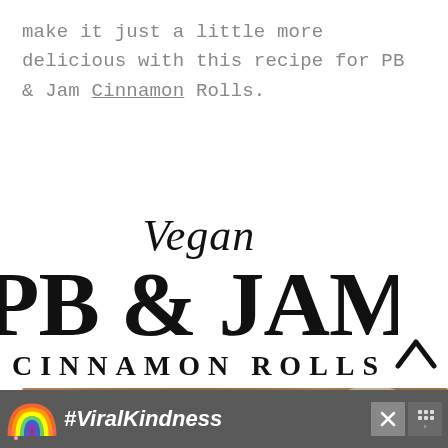make it just a little more delicious with this recipe for PB & Jam Cinnamon Rolls.
[Figure (logo): Vegan PB & JAM CINNAMON ROLLS logo in black serif/script typography on white background]
[Figure (photo): Close-up photo of cinnamon rolls, warm brown tones, partially visible]
[Figure (infographic): Advertisement banner: rainbow illustration on left, #ViralKindness text in white italic, close buttons on right, dark gray background]